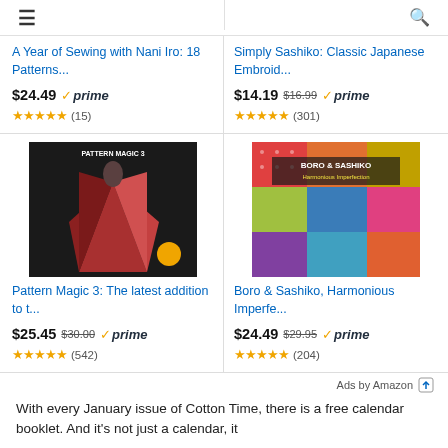[Figure (screenshot): Navigation bar with hamburger menu icon and search icon]
A Year of Sewing with Nani Iro: 18 Patterns...
$24.49 prime ★★★★★ (15)
Simply Sashiko: Classic Japanese Embroid...
$14.19 $16.99 prime ★★★★★ (301)
[Figure (photo): Book cover: Pattern Magic 3, red origami-style dress on dark background]
Pattern Magic 3: The latest addition to t...
$25.45 $30.00 prime ★★★★★ (542)
[Figure (photo): Book cover: Boro & Sashiko, Harmonious Imperfection, colorful patchwork fabric]
Boro & Sashiko, Harmonious Imperfe...
$24.49 $29.95 prime ★★★★★ (204)
Ads by Amazon
With every January issue of Cotton Time, there is a free calendar booklet. And it's not just a calendar, it